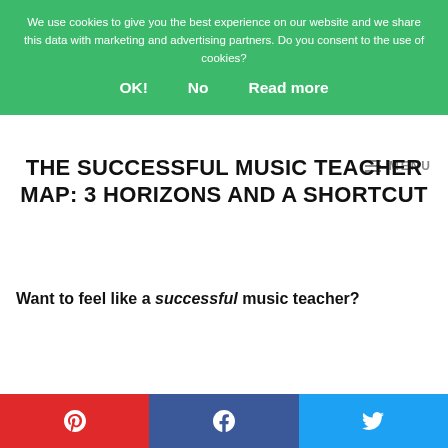We use cookies to give you the best experience on our website and we share this data with marketing and advertising partners. Do you consent to the use of cookies?
OK!   No   Read more
THE SUCCESSFUL MUSIC TEACHER MAP: 3 HORIZONS AND A SHORTCUT
Want to feel like a successful music teacher?
[Figure (other): Pinterest share button (red), Facebook share button (blue), Twitter share button (light blue) — social sharing buttons at the bottom of the page]